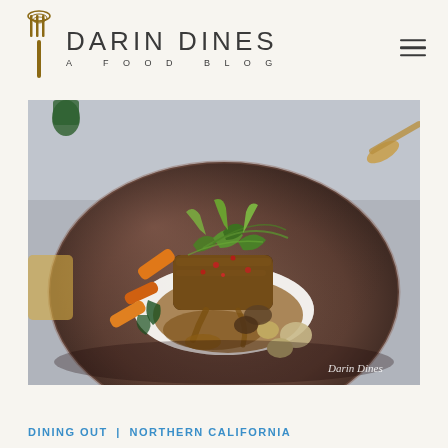[Figure (logo): Darin Dines food blog logo with fork icon and text 'DARIN DINES - A FOOD BLOG']
[Figure (photo): Close-up food photography of a gourmet meat dish on a dark ceramic plate, garnished with herbs, carrots, mushrooms, and drizzled with brown sauce. Watermark reads 'Darin Dines'.]
DINING OUT | NORTHERN CALIFORNIA